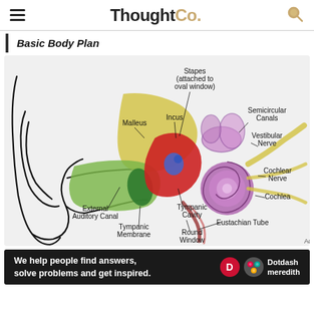ThoughtCo.
Basic Body Plan
[Figure (illustration): Anatomical diagram of the human ear showing labeled structures: Stapes (attached to oval window), Semicircular Canals, Incus, Vestibular Nerve, Malleus, Cochlear Nerve, Cochlea, Tympanic Cavity, Eustachian Tube, Round Window, Tympanic Membrane, External Auditory Canal. The outer ear is drawn in black and white line art; inner structures are colored (yellow for malleus/stapes region, green for auditory canal, red for tympanic cavity, purple for cochlea and semicircular canals).]
We help people find answers, solve problems and get inspired. Dotdash meredith